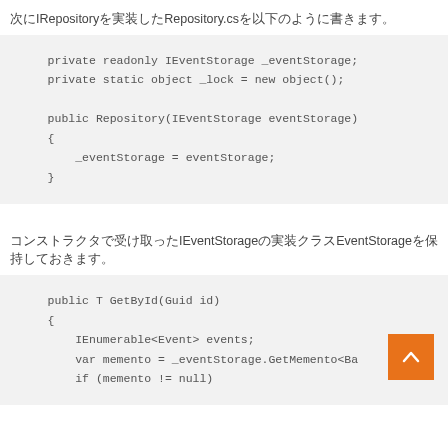次にIRepositoryを実装したRepository.csを以下のように書きます。
[Figure (screenshot): Code block showing C# Repository class with private readonly IEventStorage _eventStorage; private static object _lock = new object(); public Repository(IEventStorage eventStorage) { _eventStorage = eventStorage; }]
コンストラクタで受け取ったIEventStorageの実装クラスEventStorageを保持しておきます。
[Figure (screenshot): Code block showing C# method: public T GetById(Guid id) { IEnumerable<Event> events; var memento = _eventStorage.GetMemento<Ba... if (memento != null)]